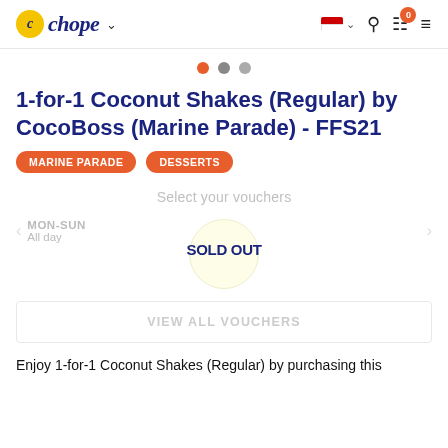Chope - navigation header with logo, flag selector, search, cart (0), and menu
[Figure (other): Three pagination dots: first dot orange (active), second dot medium gray, third dot light gray]
1-for-1 Coconut Shakes (Regular) by CocoBoss (Marine Parade) - FFS21
MARINE PARADE
DESSERTS
Select your vouchers
MON-SUN
All day
SOLD OUT
VIEW ALL VOUCHERS
Enjoy 1-for-1 Coconut Shakes (Regular) by purchasing this